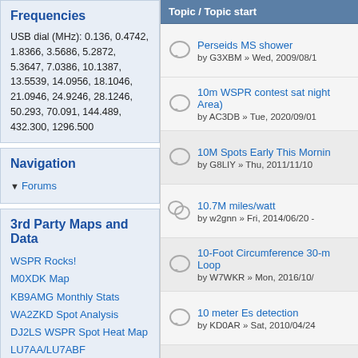Frequencies
USB dial (MHz): 0.136, 0.4742, 1.8366, 3.5686, 5.2872, 5.3647, 7.0386, 10.1387, 13.5539, 14.0956, 18.1046, 21.0946, 24.9246, 28.1246, 50.293, 70.091, 144.489, 432.300, 1296.500
Navigation
Forums
3rd Party Maps and Data
WSPR Rocks!
M0XDK Map
KB9AMG Monthly Stats
WA2ZKD Spot Analysis
DJ2LS WSPR Spot Heat Map
LU7AA/LU7ABF Maps/Graphs
Who's online
Topic / Topic start
Perseids MS shower by G3XBM » Wed, 2009/08/1
10m WSPR contest sat night Area) by AC3DB » Tue, 2020/09/01
10M Spots Early This Morning by G8LIY » Thu, 2011/11/10
10.7M miles/watt by w2gnn » Fri, 2014/06/20 -
10-Foot Circumference 30-m Loop by W7WKR » Mon, 2016/10/
10 meter Es detection by KD0AR » Sat, 2010/04/24
10 Meter Contact Challenge